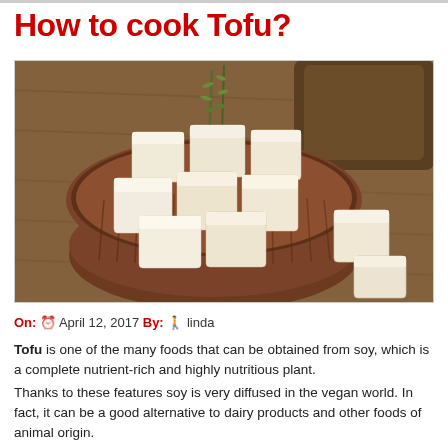How to cook Tofu?
[Figure (photo): A bowl of cubed white tofu pieces on a wooden cutting board, with rosemary sprigs and additional tofu cubes nearby]
On: April 12, 2017 By: linda
Tofu is one of the many foods that can be obtained from soy, which is a complete nutrient-rich and highly nutritious plant. Thanks to these features soy is very diffused in the vegan world. In fact, it can be a good alternative to dairy products and other foods of animal origin.